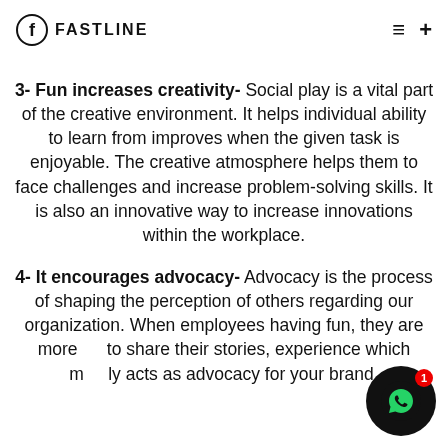FASTLINE
3- Fun increases creativity- Social play is a vital part of the creative environment. It helps individual ability to learn from improves when the given task is enjoyable. The creative atmosphere helps them to face challenges and increase problem-solving skills. It is also an innovative way to increase innovations within the workplace.
4- It encourages advocacy- Advocacy is the process of shaping the perception of others regarding our organization. When employees having fun, they are more to share their stories, experience which mostly acts as advocacy for your brand.